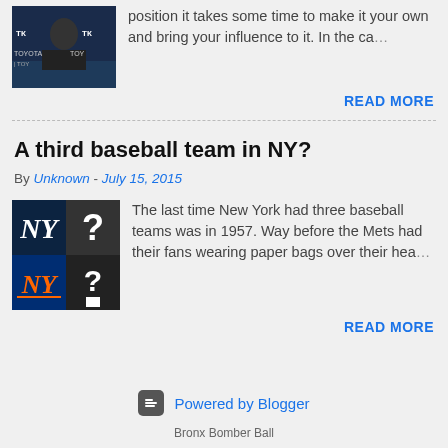position it takes some time to make it your own and bring your influence to it. In the ca…
READ MORE
A third baseball team in NY?
By Unknown - July 15, 2015
The last time New York had three baseball teams was in 1957. Way before the Mets had their fans wearing paper bags over their hea…
READ MORE
[Figure (logo): Blogger logo icon with 'Powered by Blogger' text]
Bronx Bomber Ball